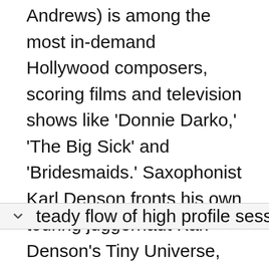Andrews) is among the most in-demand Hollywood composers, scoring films and television shows like 'Donnie Darko,' 'The Big Sick' and 'Bridesmaids.' Saxophonist Karl Denson fronts his own touring juggernaut Karl Denson's Tiny Universe, but also serves as the tenor saxophonist in The Rolling Stones having replaced Bobby Keys after his passing. Bassist Chris Stillwell and drummer Aaron Redfield are one of the most sought after rhythm sections in any genre with a steady flow of high profile session and touring